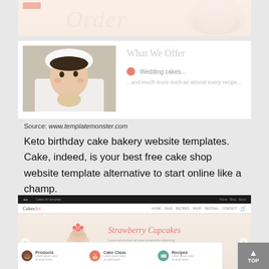[Figure (screenshot): Top portion of a bakery website template showing cursive text and a cup/plate image on a cream background]
[Figure (screenshot): Screenshot of a bakery website 'What We Offer' section with chef photo on left and list items including 'Wedding cakes' on right]
Source: www.templatemonster.com
Keto birthday cake bakery website templates. Cake, indeed, is your best free cake shop website template alternative to start online like a champ.
[Figure (screenshot): Screenshot of CakesArt website template showing Strawberry Cupcakes hero section with cupcake image, navigation bar, and product categories (Products, Cake Class, Recipes)]